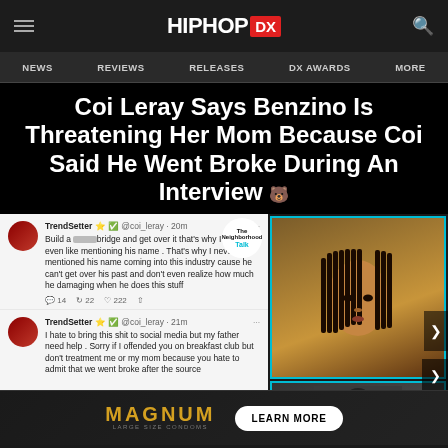HIPHOP DX
NEWS   REVIEWS   RELEASES   DX AWARDS   MORE
Coi Leray Says Benzino Is Threatening Her Mom Because Coi Said He Went Broke During An Interview
[Figure (screenshot): Screenshot of social media posts by @coi_leray (TrendSetter) on Twitter. First tweet (20m ago): 'Build a [f***ing] bridge and get over it that's why I don't even like mentioning his name . That's why I never mentioned his name coming into this industry cause he can't get over his past and don't even realize how much he damaging when he does this stuff' with 14 replies, 22 retweets, 222 likes. Second tweet (21m ago): 'I hate to bring this shit to social media but my father need help . Sorry if I offended you on breakfast club but don't treatment me or my mom because you hate to admit that we went broke after the source'. Right side shows photo panels of a woman with braids and another person.]
[Figure (photo): Advertisement for Magnum Large Size Condoms with 'LEARN MORE' button]